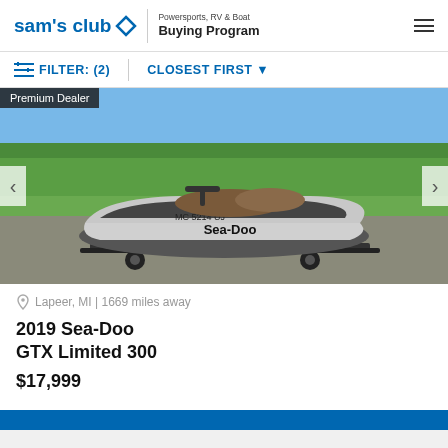sam's club Powersports, RV & Boat Buying Program
FILTER: (2)  CLOSEST FIRST
[Figure (photo): A Sea-Doo GTX personal watercraft with registration MC 5214 UJ on a trailer, parked outdoors on a gravel surface with green grass and trees in the background. Branded with 'Sea-Doo' on the hull. Has a 'Premium Dealer' badge in the top-left corner.]
Lapeer, MI | 1669 miles away
2019 Sea-Doo GTX Limited 300
$17,999